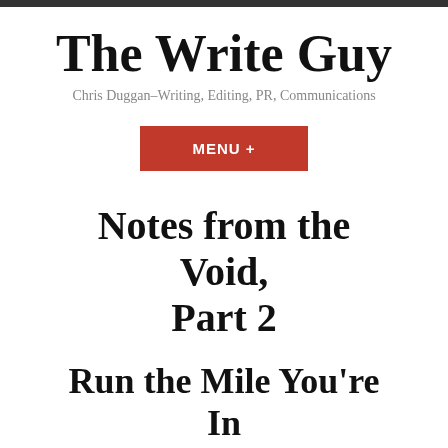The Write Guy
Chris Duggan–Writing, Editing, PR, Communications
MENU +
Notes from the Void, Part 2
Run the Mile You're In